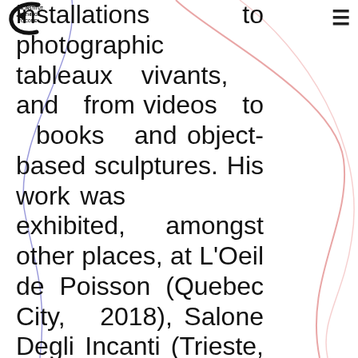THE INSTITUTE OF THINGS TO COME
installations to photographic tableaux vivants, and from videos to books and object-based sculptures. His work was exhibited, amongst other places, at L'Oeil de Poisson (Quebec City, 2018), Salone Degli Incanti (Trieste, 2018), The Petach Tikva Museum (Tel Aviv, 2017), The State Museum of Contemporary Art (Thessaloniki, 2017), A... B...